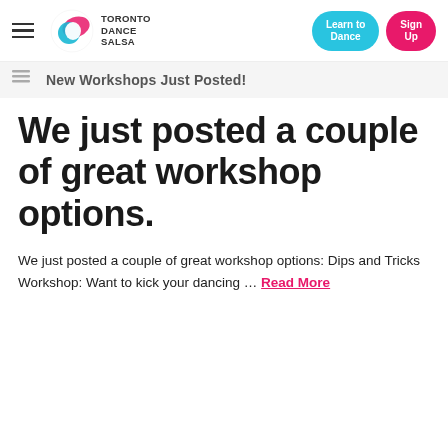[Figure (logo): Toronto Dance Salsa logo with colorful swirl graphic and text]
New Workshops Just Posted!
We just posted a couple of great workshop options.
We just posted a couple of great workshop options: Dips and Tricks Workshop: Want to kick your dancing … Read More